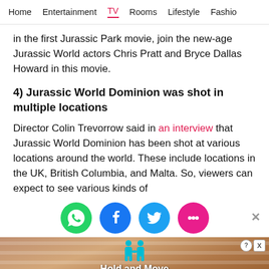Home  Entertainment  TV  Rooms  Lifestyle  Fashio
in the first Jurassic Park movie, join the new-age Jurassic World actors Chris Pratt and Bryce Dallas Howard in this movie.
4) Jurassic World Dominion was shot in multiple locations
Director Colin Trevorrow said in an interview that Jurassic World Dominion has been shot at various locations around the world. These include locations in the UK, British Columbia, and Malta. So, viewers can expect to see various kinds of
[Figure (infographic): Social sharing icons: WhatsApp (green), Facebook (blue), Twitter (blue), Chat/comments (pink/red), and an X close button on the right]
[Figure (screenshot): Advertisement banner showing Hold and Move app/game with two teal human figures and striped background. Info and close buttons in top right.]